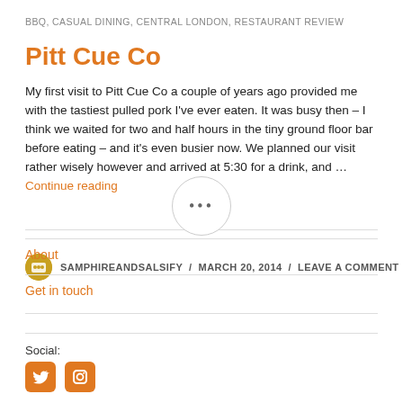BBQ, CASUAL DINING, CENTRAL LONDON, RESTAURANT REVIEW
Pitt Cue Co
My first visit to Pitt Cue Co a couple of years ago provided me with the tastiest pulled pork I've ever eaten. It was busy then – I think we waited for two and half hours in the tiny ground floor bar before eating – and it's even busier now. We planned our visit rather wisely however and arrived at 5:30 for a drink, and … Continue reading
SAMPHIREANDSALSIFY / MARCH 20, 2014 / LEAVE A COMMENT
About
Get in touch
Social: